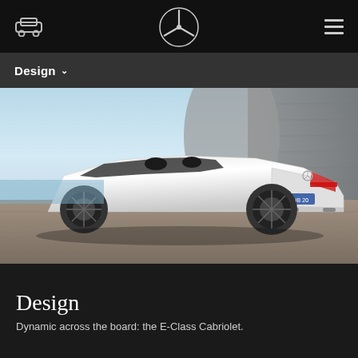Navigation bar with Mercedes-Benz logo, car icon, and hamburger menu
Design
[Figure (photo): Rear three-quarter view of a white Mercedes-Benz E-Class Cabriolet parked on cobblestones with a blue sky and concrete wall background]
Design
Dynamic across the board: the E-Class Cabriolet.